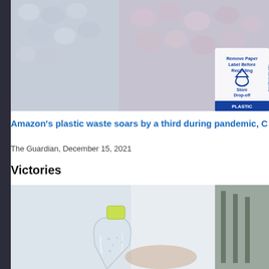[Figure (photo): Close-up of plastic bubble wrap packaging with a blue recycling label reading 'Remove Paper Label Before Recycling', 'Store Drop-off', 'PLASTIC', and 'how2recycle.info']
Amazon's plastic waste soars by a third during pandemic, C
The Guardian, December 15, 2021
Victories
[Figure (photo): Close-up of a clear plastic bottle with a bright yellow-green cap being held by a person, blurred industrial background]